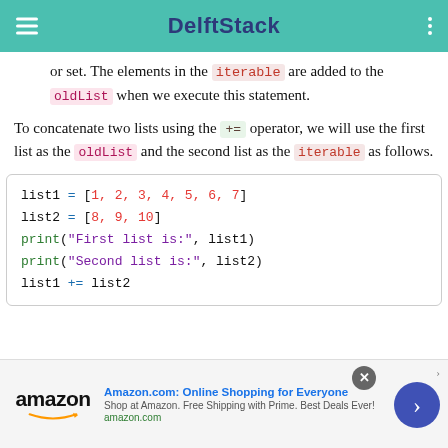DelftStack
or set. The elements in the iterable are added to the oldList when we execute this statement.
To concatenate two lists using the += operator, we will use the first list as the oldList and the second list as the iterable as follows.
[Figure (screenshot): Code block showing Python list concatenation: list1 = [1, 2, 3, 4, 5, 6, 7], list2 = [8, 9, 10], print("First list is:", list1), print("Second list is:", list2), list1 += list2]
Amazon.com: Online Shopping for Everyone — Shop at Amazon. Free Shipping with Prime. Best Deals Ever! amazon.com